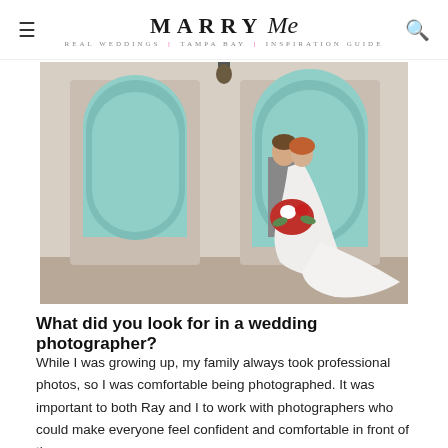≡  MARRY Me TAMPA BAY  🔍
[Figure (photo): Wedding couple standing in front of two large arched turquoise/mint wooden doors on a stone wall. The groom is in a grey suit kissing the bride, who wears a white ball gown and holds a red and white floral bouquet.]
What did you look for in a wedding photographer?
While I was growing up, my family always took professional photos, so I was comfortable being photographed. It was important to both Ray and I to work with photographers who could make everyone feel confident and comfortable in front of the camera